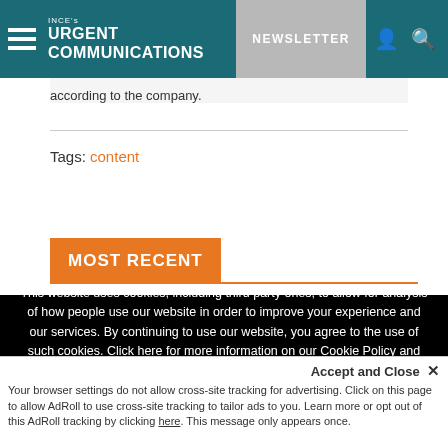INCE's URGENT COMMUNICATIONS | NEWSLETTER
according to the company.
Tags: content
MOST RECENT
This website uses cookies, including third party ones, to allow for analysis of how people use our website in order to improve your experience and our services. By continuing to use our website, you agree to the use of such cookies. Click here for more information on our Cookie Policy and Privacy Policy
Accept and Close ✕
Your browser settings do not allow cross-site tracking for advertising. Click on this page to allow AdRoll to use cross-site tracking to tailor ads to you. Learn more or opt out of this AdRoll tracking by clicking here. This message only appears once.